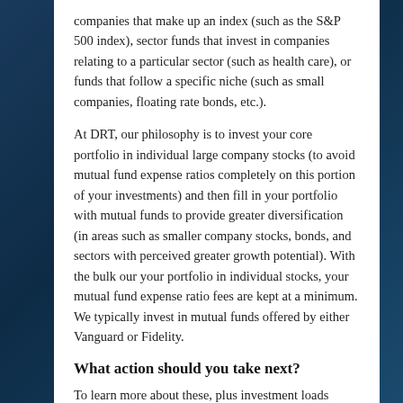companies that make up an index (such as the S&P 500 index), sector funds that invest in companies relating to a particular sector (such as health care), or funds that follow a specific niche (such as small companies, floating rate bonds, etc.).
At DRT, our philosophy is to invest your core portfolio in individual large company stocks (to avoid mutual fund expense ratios completely on this portion of your investments) and then fill in your portfolio with mutual funds to provide greater diversification (in areas such as smaller company stocks, bonds, and sectors with perceived greater growth potential). With the bulk our your portfolio in individual stocks, your mutual fund expense ratio fees are kept at a minimum. We typically invest in mutual funds offered by either Vanguard or Fidelity.
What action should you take next?
To learn more about these, plus investment loads (charges that are placed at the time you purchase a fund item, such as a